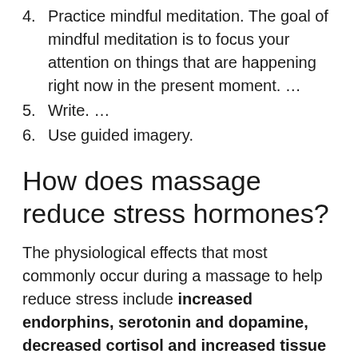4. Practice mindful meditation. The goal of mindful meditation is to focus your attention on things that are happening right now in the present moment. …
5. Write. …
6. Use guided imagery.
How does massage reduce stress hormones?
The physiological effects that most commonly occur during a massage to help reduce stress include increased endorphins, serotonin and dopamine, decreased cortisol and increased tissue elasticity. An increase in endorphins, serotonin and dopamine occurs during a